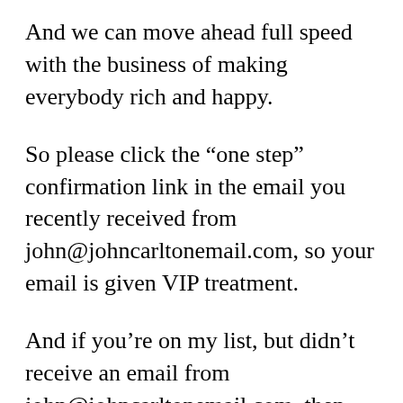And we can move ahead full speed with the business of making everybody rich and happy.
So please click the “one step” confirmation link in the email you recently received from john@johncarltonemail.com, so your email is given VIP treatment.
And if you’re on my list, but didn’t receive an email from john@johncarltonemail.com, then please check your bulk/junk folders to see if your filters snagged it.